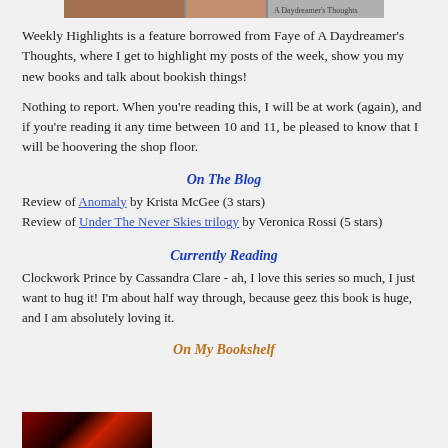[Figure (photo): Cropped top banner image showing book covers with text 'A Daydreamer's Thoughts']
Weekly Highlights is a feature borrowed from Faye of A Daydreamer's Thoughts, where I get to highlight my posts of the week, show you my new books and talk about bookish things!
Nothing to report. When you're reading this, I will be at work (again), and if you're reading it any time between 10 and 11, be pleased to know that I will be hoovering the shop floor.
On The Blog
Review of Anomaly by Krista McGee (3 stars)
Review of Under The Never Skies trilogy by Veronica Rossi (5 stars)
Currently Reading
Clockwork Prince by Cassandra Clare - ah, I love this series so much, I just want to hug it! I'm about half way through, because geez this book is huge, and I am absolutely loving it.
On My Bookshelf
[Figure (photo): Bottom left book cover image, dark red and black design, partially visible]